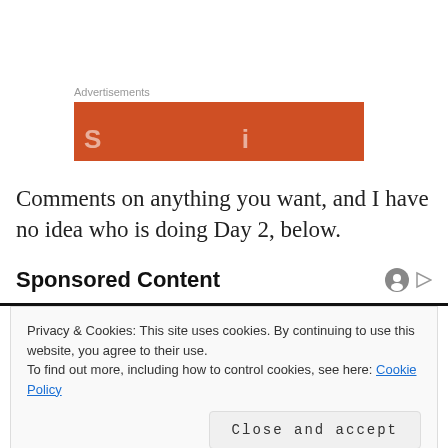[Figure (other): Orange/red advertisement banner with light text partially visible]
Comments on anything you want, and I have no idea who is doing Day 2, below.
Sponsored Content
Privacy & Cookies: This site uses cookies. By continuing to use this website, you agree to their use.
To find out more, including how to control cookies, see here: Cookie Policy
Close and accept
[Figure (photo): Partial photo visible at the bottom of the page, appears to be a sports image]